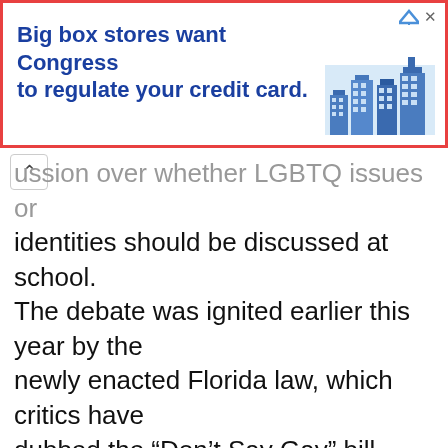[Figure (infographic): Advertisement banner: 'Big box stores want Congress to regulate your credit card.' with blue city/building icon on the right, red border, close (x) and arrow controls top right.]
...ussion over whether LGBTQ issues or identities should be discussed at school. The debate was ignited earlier this year by the newly enacted Florida law, which critics have dubbed the “Don’t Say Gay” bill. Officially titled the Parental Rights in Education bill, the legislation bans teaching about sexual orientation or gender identity “in kindergarten through grade 3 or in a manner that is not age appropriate or developmentally appropriate for students in accordance with state standards.” Florida Gov. Ron DeSantis signed the bill into